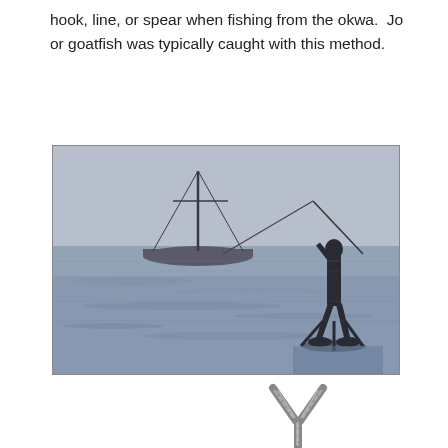hook, line, or spear when fishing from the okwa.  Jo or goatfish was typically caught with this method.
[Figure (photo): Black and white photograph of a person standing in shallow water holding a fishing rod, with a sailing vessel visible in the background on the horizon. The scene is a coastal or ocean setting with calm water.]
[Figure (photo): Partial photograph showing a Y-shaped or forked metallic/chain object, possibly a fishing tool or spear component, against a white background.]